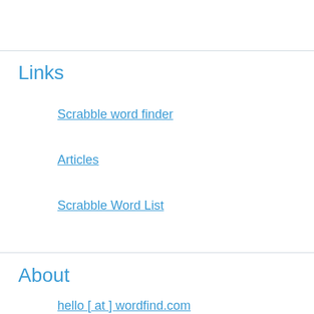Links
Scrabble word finder
Articles
Scrabble Word List
About
hello [ at ] wordfind.com